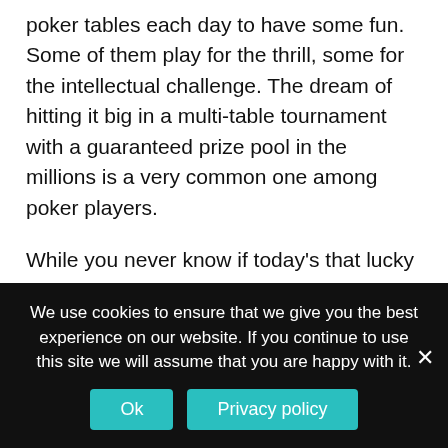poker tables each day to have some fun. Some of them play for the thrill, some for the intellectual challenge. The dream of hitting it big in a multi-table tournament with a guaranteed prize pool in the millions is a very common one among poker players.
While you never know if today's that lucky day, we recommend you to gamble safely. Playing poker online should be enjoyable and balanced with other activities and responsibilities.
Only play with extra money not needed for...
We use cookies to ensure that we give you the best experience on our website. If you continue to use this site we will assume that you are happy with it.